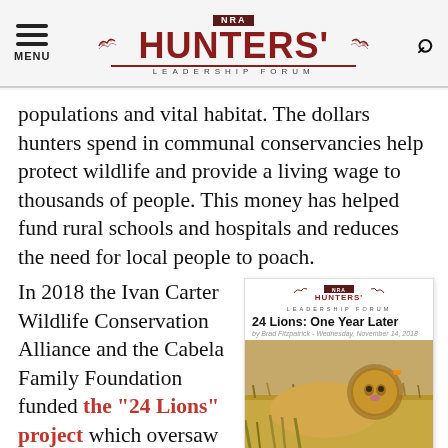NRA HUNTERS' LEADERSHIP FORUM
populations and vital habitat. The dollars hunters spend in communal conservancies help protect wildlife and provide a living wage to thousands of people. This money has helped fund rural schools and hospitals and reduces the need for local people to poach.
In 2018 the Ivan Carter Wildlife Conservation Alliance and the Cabela Family Foundation funded the “24 Lions” project which oversaw the relocation of 24 lions from South Africa...
[Figure (screenshot): Article card showing NRA Hunters' Leadership Forum logo, headline '24 Lions: One Year Later', byline 'by Brad Fitzpatrick - Wednesday, November 14, 2018', and photo of a lion in savanna grass. Caption text: 'August marks one year since the Ivan Carter Wildlife Conservation Alliance and the Cabela Family Foundation successfully relocated 24 wild lions into Mozambique']